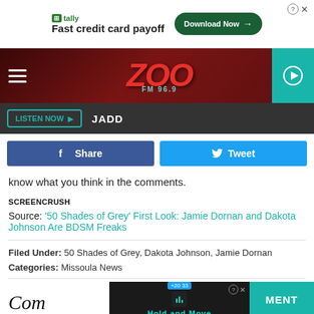[Figure (screenshot): Tally advertisement banner: Fast credit card payoff with Download Now button]
[Figure (logo): ZOO FM 96.9 radio station header with hamburger menu and play button]
LISTEN NOW  JADD
[Figure (screenshot): Share on Facebook and Tweet social sharing buttons]
know what you think in the comments.
SCREENCRUSH Source: '50 Shades of Grey' First Look: Jamie Dornan and Dakota Johnson Are BDSM Freaks
Filed Under: 50 Shades of Grey, Dakota Johnson, Jamie Dornan
Categories: Missoula News
[Figure (screenshot): Bottom advertisement banner for Hold and Move app with partial comments section visible]